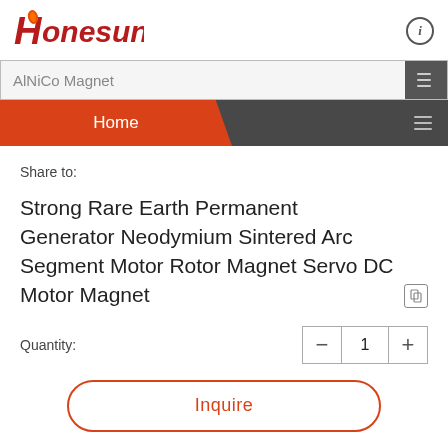[Figure (logo): Honesun company logo in red/orange with stylized H]
AlNiCo Magnet
Home
Share to:
Strong Rare Earth Permanent Generator Neodymium Sintered Arc Segment Motor Rotor Magnet Servo DC Motor Magnet
Quantity: 1
Inquire